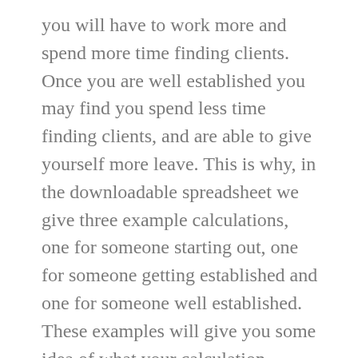you will have to work more and spend more time finding clients. Once you are well established you may find you spend less time finding clients, and are able to give yourself more leave. This is why, in the downloadable spreadsheet we give three example calculations, one for someone starting out, one for someone getting established and one for someone well established. These examples will give you some idea of what your calculation should look like.
Our downloadable spreadsheet includes a